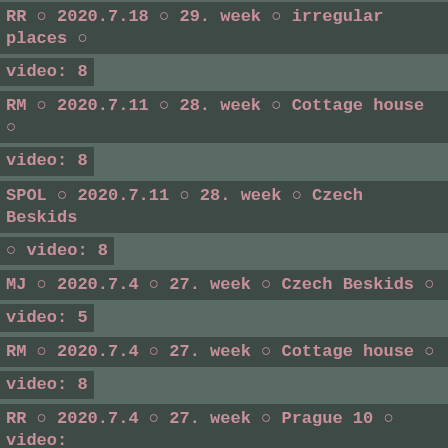RR ○ 2020.7.18 ○ 29. week ○ irregular places ○ video: 8
RM ○ 2020.7.11 ○ 28. week ○ Cottage house ○ video: 8
SPOL ○ 2020.7.11 ○ 28. week ○ Czech Beskids ○ video: 8
MJ ○ 2020.7.4 ○ 27. week ○ Czech Beskids ○ video: 5
RM ○ 2020.7.4 ○ 27. week ○ Cottage house ○ video: 8
RR ○ 2020.7.4 ○ 27. week ○ Prague 10 ○ video: 8